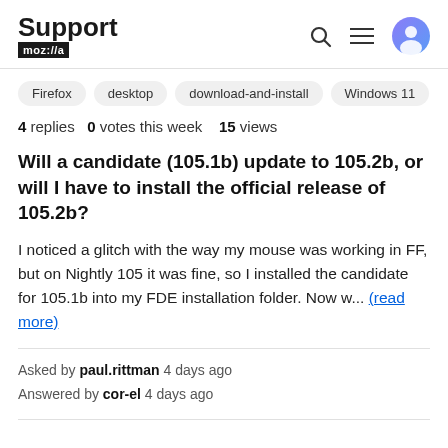Support mozilla
Firefox
desktop
download-and-install
Windows 11
4 replies  0 votes this week  15 views
Will a candidate (105.1b) update to 105.2b, or will I have to install the official release of 105.2b?
I noticed a glitch with the way my mouse was working in FF, but on Nightly 105 it was fine, so I installed the candidate for 105.1b into my FDE installation folder. Now w... (read more)
Asked by paul.rittman 4 days ago
Answered by cor-el 4 days ago